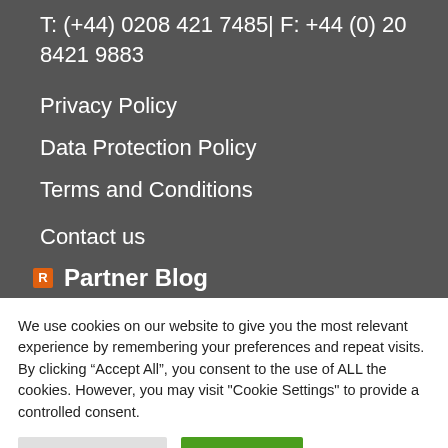T: (+44) 0208 421 7485| F: +44 (0) 20 8421 9883
Privacy Policy
Data Protection Policy
Terms and Conditions
Contact us
Partner Blog
We use cookies on our website to give you the most relevant experience by remembering your preferences and repeat visits. By clicking “Accept All”, you consent to the use of ALL the cookies. However, you may visit "Cookie Settings" to provide a controlled consent.
Cookie Settings | Accept All